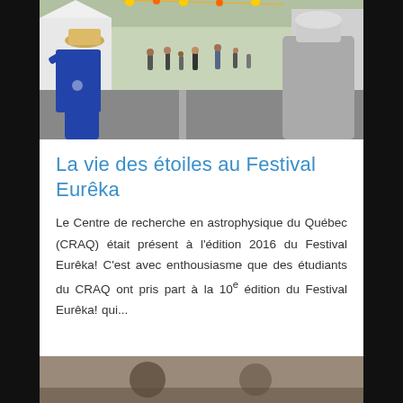[Figure (photo): Outdoor festival street scene with crowd of people; person in blue CRAQ t-shirt with hat in foreground looking away, another person in gray hoodie on right, festival tents and decorations visible in background.]
La vie des étoiles au Festival Eurêka
Le Centre de recherche en astrophysique du Québec (CRAQ) était présent à l'édition 2016 du Festival Eurêka! C'est avec enthousiasme que des étudiants du CRAQ ont pris part à la 10e édition du Festival Eurêka! qui...
[Figure (photo): Partial photo visible at bottom of page, appears to show a person or object, mostly cropped out of view.]